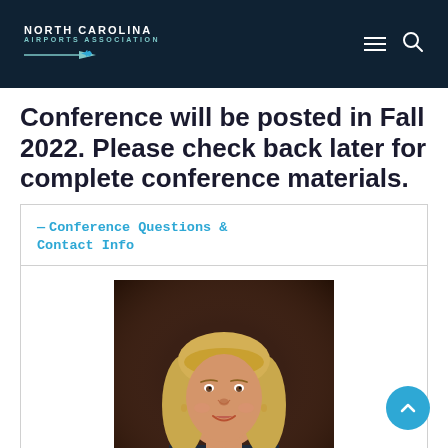NORTH CAROLINA AIRPORTS ASSOCIATION
Conference will be posted in Fall 2022. Please check back later for complete conference materials.
— Conference Questions & Contact Info
[Figure (photo): Headshot portrait of a blonde woman smiling, wearing dark clothing, against a dark brown background.]